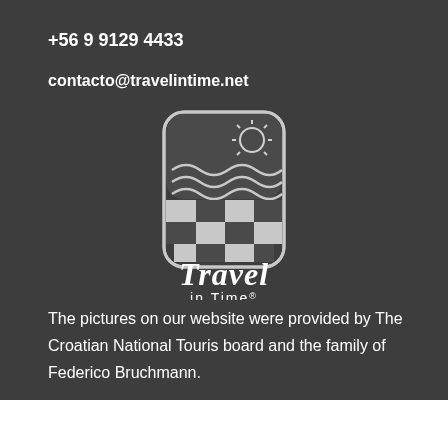+56 9 9129 4433
contacto@travelintime.net
[Figure (logo): Travel in Time logo: rounded rectangle badge with checkered bottom half and wave/sun design on top, with cursive 'Travel' and sans-serif 'in Time®' text below]
The pictures on our website were provided by The Croatian National Touris board and the family of Federico Bruchmann.